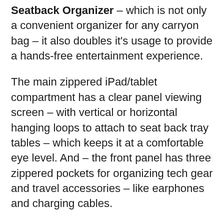Seatback Organizer – which is not only a convenient organizer for any carryon bag – it also doubles it's usage to provide a hands-free entertainment experience.
The main zippered iPad/tablet compartment has a clear panel viewing screen – with vertical or horizontal hanging loops to attach to seat back tray tables – which keeps it at a comfortable eye level. And – the front panel has three zippered pockets for organizing tech gear and travel accessories – like earphones and charging cables.